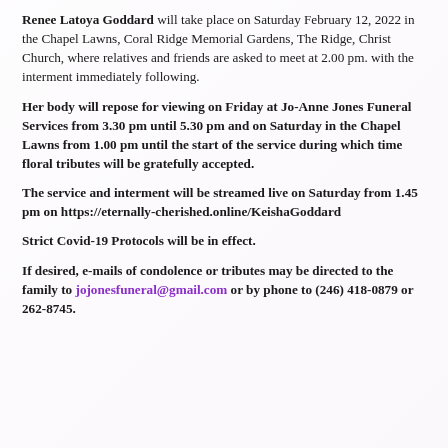Renee Latoya Goddard will take place on Saturday February 12, 2022 in the Chapel Lawns, Coral Ridge Memorial Gardens, The Ridge, Christ Church, where relatives and friends are asked to meet at 2.00 pm. with the interment immediately following.
Her body will repose for viewing on Friday at Jo-Anne Jones Funeral Services from 3.30 pm until 5.30 pm and on Saturday in the Chapel Lawns from 1.00 pm until the start of the service during which time floral tributes will be gratefully accepted.
The service and interment will be streamed live on Saturday from 1.45 pm on https://eternally-cherished.online/KeishaGoddard
Strict Covid-19 Protocols will be in effect.
If desired, e-mails of condolence or tributes may be directed to the family to jojonesfuneral@gmail.com or by phone to (246) 418-0879 or 262-8745.